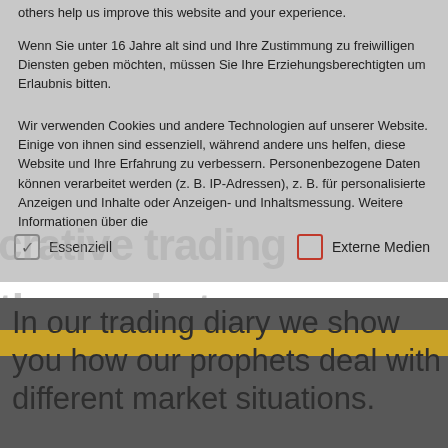others help us improve this website and your experience.
Wenn Sie unter 16 Jahre alt sind und Ihre Zustimmung zu freiwilligen Diensten geben möchten, müssen Sie Ihre Erziehungsberechtigten um Erlaubnis bitten.
Wir verwenden Cookies und andere Technologien auf unserer Website. Einige von ihnen sind essenziell, während andere uns helfen, diese Website und Ihre Erfahrung zu verbessern. Personenbezogene Daten können verarbeitet werden (z. B. IP-Adressen), z. B. für personalisierte Anzeigen und Inhalte oder Anzeigen- und Inhaltsmessung. Weitere Informationen über die
Essenziell    Externe Medien
In our trading diary we show you how our prophets deal with different market situations.